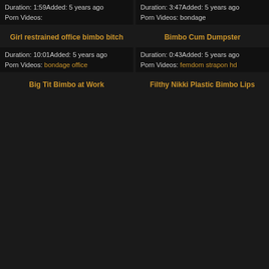Duration: 1:59Added: 5 years ago
Porn Videos:
Duration: 3:47Added: 5 years ago
Porn Videos: bondage
Girl restrained office bimbo bitch
Bimbo Cum Dumpster
[Figure (photo): Video thumbnail placeholder - gray rectangle]
[Figure (photo): Video thumbnail placeholder - gray rectangle]
Duration: 10:01Added: 5 years ago
Porn Videos: bondage office
Duration: 0:43Added: 5 years ago
Porn Videos: femdom strapon hd
Big Tit Bimbo at Work
Filthy Nikki Plastic Bimbo Lips
[Figure (photo): Video thumbnail placeholder - gray rectangle]
[Figure (photo): Video thumbnail placeholder - gray rectangle]